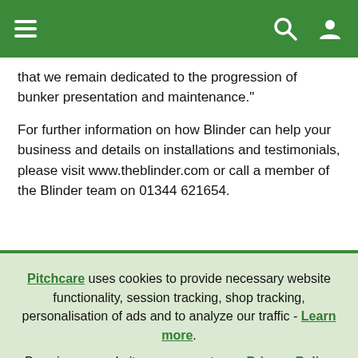Navigation bar with hamburger menu, search icon, and user icon
that we remain dedicated to the progression of bunker presentation and maintenance."
For further information on how Blinder can help your business and details on installations and testimonials, please visit www.theblinder.com or call a member of the Blinder team on 01344 621654.
Pitchcare uses cookies to provide necessary website functionality, session tracking, shop tracking, personalisation of ads and to analyze our traffic - Learn more. By using our website, you agree to our Privacy Policy and our cookies usage.
Accept